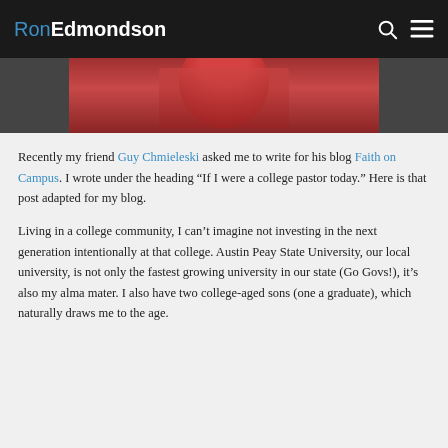RonEdmondson
[Figure (photo): Partial photo of a person wearing a red t-shirt, cropped at the top of the page]
Recently my friend Guy Chmieleski asked me to write for his blog Faith on Campus. I wrote under the heading “If I were a college pastor today.” Here is that post adapted for my blog.
Living in a college community, I can’t imagine not investing in the next generation intentionally at that college. Austin Peay State University, our local university, is not only the fastest growing university in our state (Go Govs!), it’s also my alma mater. I also have two college-aged sons (one a graduate), which naturally draws me to the age.